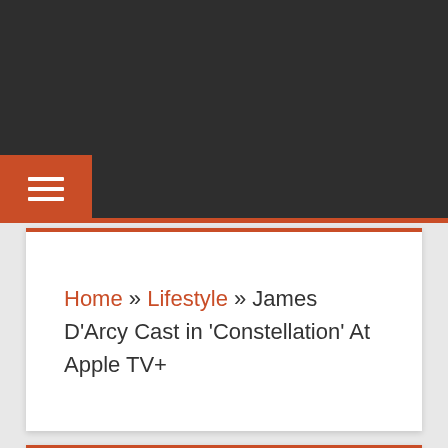Navigation bar with hamburger menu icon
Home » Lifestyle » James D'Arcy Cast in 'Constellation' At Apple TV+